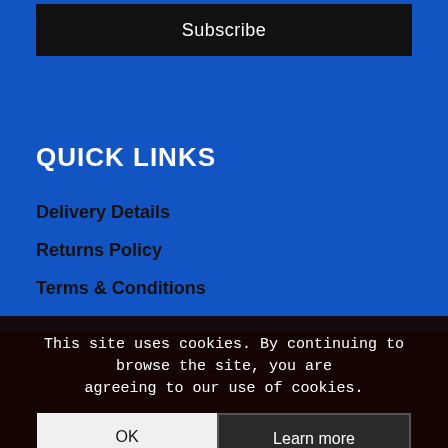Subscribe
QUICK LINKS
Delivery Details
Returns Policy
Terms & Conditions
© Copyright - Limeligh... WooCreative
Delivery Details | Terms & Conditions
This site uses cookies. By continuing to browse the site, you are agreeing to our use of cookies.
OK
Learn more